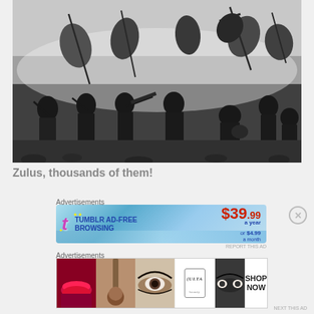[Figure (photo): Black and white historical photograph depicting a battle scene with many warriors, some carrying shields, in dusty/smoky conditions — appears to be from the film or depicting the Battle of Isandlwana (Zulus)]
Zulus, thousands of them!
Advertisements
[Figure (screenshot): Tumblr Ad-Free Browsing advertisement banner. Shows Tumblr logo with price $39.99 a year or $4.99 a month]
Advertisements
[Figure (screenshot): ULTA beauty advertisement banner showing makeup images and SHOP NOW call to action]